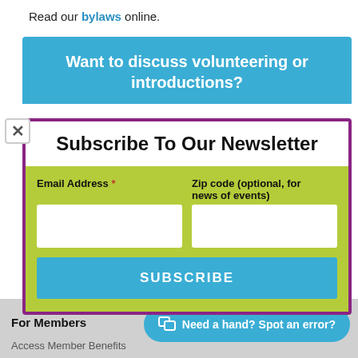Read our bylaws online.
Want to discuss volunteering or introductions?
Subscribe To Our Newsletter
Email Address *
Zip code (optional, for news of events)
SUBSCRIBE
Need a hand? Spot an error?
For Members
Access Member Benefits